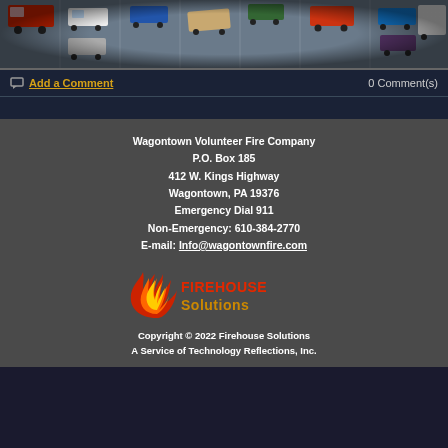[Figure (photo): Aerial view of a parking lot with various vehicles including cars, trucks, and emergency vehicles, from a fish-eye or wide-angle perspective]
Add a Comment    0 Comment(s)
Wagontown Volunteer Fire Company
P.O. Box 185
412 W. Kings Highway
Wagontown, PA 19376
Emergency Dial 911
Non-Emergency: 610-384-2770
E-mail: Info@wagontownfire.com
[Figure (logo): Firehouse Solutions logo with flame icon and text in red/gold colors]
Copyright © 2022 Firehouse Solutions
A Service of Technology Reflections, Inc.